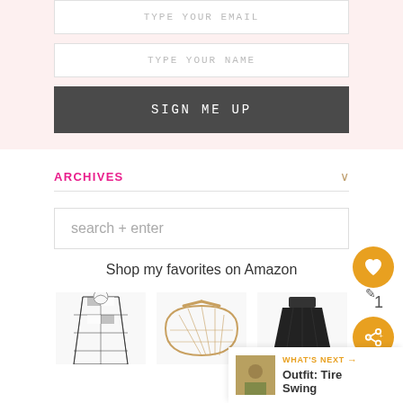TYPE YOUR EMAIL
TYPE YOUR NAME
SIGN ME UP
ARCHIVES
search + enter
Shop my favorites on Amazon
[Figure (photo): Product images: gingham dress, bamboo arc bag, black skirt]
WHAT'S NEXT → Outfit: Tire Swing